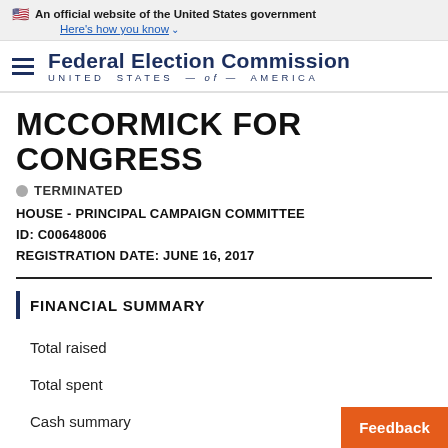An official website of the United States government Here's how you know
Federal Election Commission UNITED STATES — of— AMERICA
MCCORMICK FOR CONGRESS
TERMINATED
HOUSE - PRINCIPAL CAMPAIGN COMMITTEE
ID: C00648006
REGISTRATION DATE: JUNE 16, 2017
FINANCIAL SUMMARY
Total raised
Total spent
Cash summary
ABOUT THIS COMMITTEE